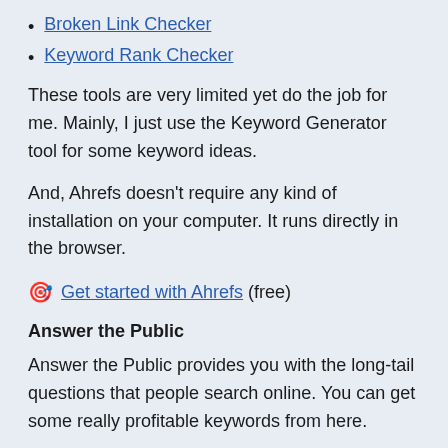Broken Link Checker
Keyword Rank Checker
These tools are very limited yet do the job for me. Mainly, I just use the Keyword Generator tool for some keyword ideas.
And, Ahrefs doesn't require any kind of installation on your computer. It runs directly in the browser.
🎯 Get started with Ahrefs (free)
Answer the Public
Answer the Public provides you with the long-tail questions that people search online. You can get some really profitable keywords from here.